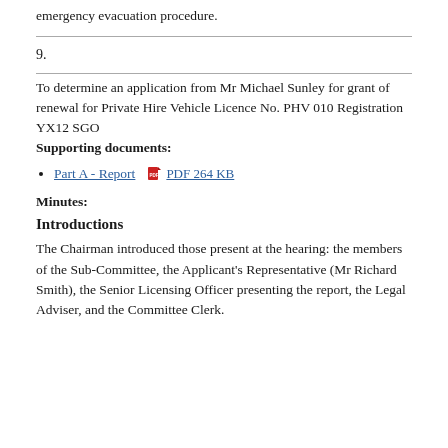emergency evacuation procedure.
9.
To determine an application from Mr Michael Sunley for grant of renewal for Private Hire Vehicle Licence No. PHV 010 Registration YX12 SGO
Supporting documents:
Part A - Report  PDF 264 KB
Minutes:
Introductions
The Chairman introduced those present at the hearing: the members of the Sub-Committee, the Applicant's Representative (Mr Richard Smith), the Senior Licensing Officer presenting the report, the Legal Adviser, and the Committee Clerk.